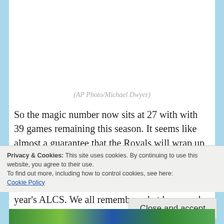[Figure (photo): Partial photo of baseball players or crowd at a game, top portion visible above the main text content]
(AP Photo/Michael Dwyer)
So the magic number now sits at 27 with with 39 games remaining this season. It seems like almost a guarantee that the Royals will wrap up the division and do that fairly soon. Kansas City has no time to rest, as the Baltimore Orioles are headed to town for a four game rematch of last year’s ALCS. We all remember what happened the last
Privacy & Cookies: This site uses cookies. By continuing to use this website, you agree to their use.
To find out more, including how to control cookies, see here:
Cookie Policy
Close and accept
[Figure (photo): Bottom strip of another baseball photo partially visible at the bottom of the page]